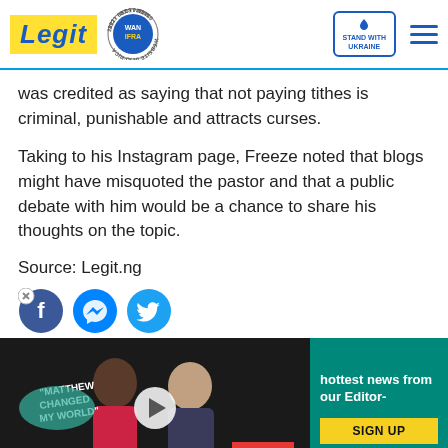Legit | WAN IFRA 2021 Best News Website in Africa | Stand with Ukraine
was credited as saying that not paying tithes is criminal, punishable and attracts curses.
Taking to his Instagram page, Freeze noted that blogs might have misquoted the pastor and that a public debate with him would be a chance to share his thoughts on the topic.
Source: Legit.ng
[Figure (screenshot): Social share icons: close/Facebook, Messenger, Twitter]
[Figure (screenshot): Video thumbnail showing two people with speech bubble 'Matthew Changed My World', play button, and newsletter signup overlay reading 'hottest news from our Editor-' with SIGN UP button and red chevron down button]
[Figure (screenshot): Advertisement bar: Dulles OPEN 10AM-8PM, 45575 Dulles Eastern Plaza, Suite 171, D with navigation arrow icon]